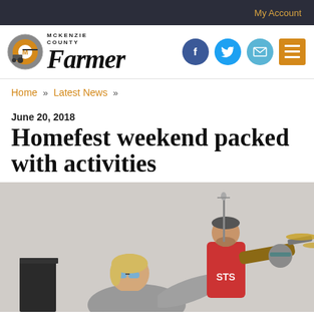My Account
[Figure (logo): McKenzie County Farmer newspaper logo with circular emblem and bold serif Farmer text]
Home » Latest News »
June 20, 2018
Homefest weekend packed with activities
[Figure (photo): Outdoor concert scene: a woman with sunglasses in the foreground, a man in a red STS shirt playing guitar at a microphone, and a drummer visible in the background right]